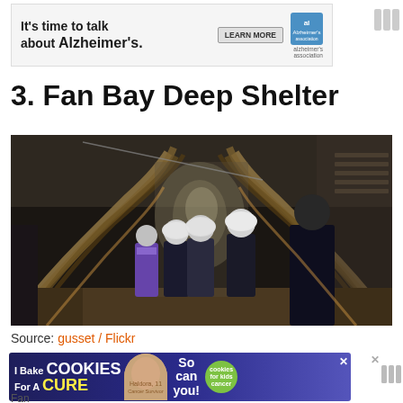[Figure (infographic): Advertisement banner for Alzheimer's Association: 'It's time to talk about Alzheimer's.' with Learn More button and Alzheimer's Association logo]
3. Fan Bay Deep Shelter
[Figure (photo): Interior of Fan Bay Deep Shelter tunnel showing visitors wearing hard hats walking through a corrugated metal arched tunnel with brick walls, lit from the far end.]
Source: gusset / Flickr
[Figure (infographic): Advertisement: 'I Bake COOKIES For A CURE' with image of girl holding cookies, text 'So can you!' and a green cookies badge. Haldora, 11 Cancer Survivor.]